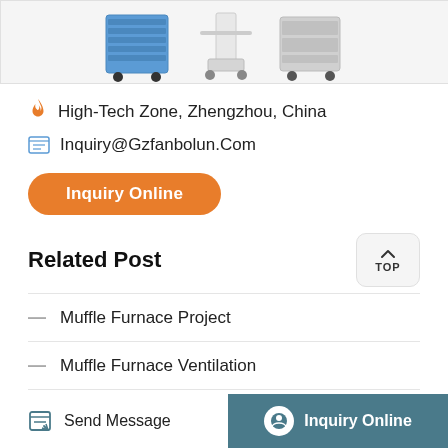[Figure (photo): Three medical/lab equipment items on wheels shown partially at the top of the page]
🔥 High-Tech Zone, Zhengzhou, China
✉ Inquiry@Gzfanbolun.Com
Inquiry Online
Related Post
Muffle Furnace Project
Muffle Furnace Ventilation
Muffle Furnace Online India
Send Message   Inquiry Online